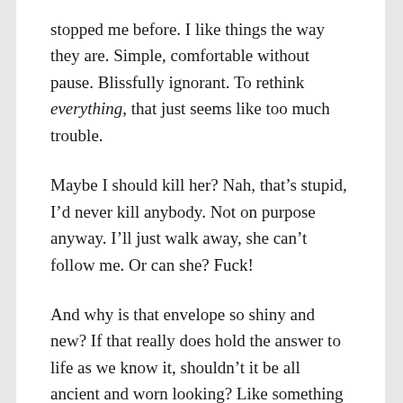stopped me before. I like things the way they are. Simple, comfortable without pause. Blissfully ignorant. To rethink everything, that just seems like too much trouble.
Maybe I should kill her? Nah, that’s stupid, I’d never kill anybody. Not on purpose anyway. I’ll just walk away, she can’t follow me. Or can she? Fuck!
And why is that envelope so shiny and new? If that really does hold the answer to life as we know it, shouldn’t it be all ancient and worn looking? Like something hidden, passed down through the ages? Looks like she just got it at Office Depot or something.
There’s a knock at the door. Now who the hell could that be?